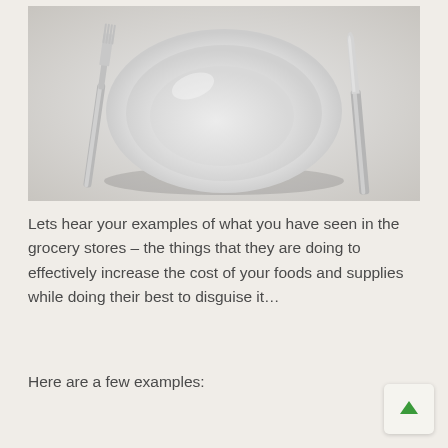[Figure (photo): A white dinner plate with a fork on the left and a knife on the right, set on a light grey surface, viewed from above.]
Lets hear your examples of what you have seen in the grocery stores – the things that they are doing to effectively increase the cost of your foods and supplies while doing their best to disguise it…
Here are a few examples: